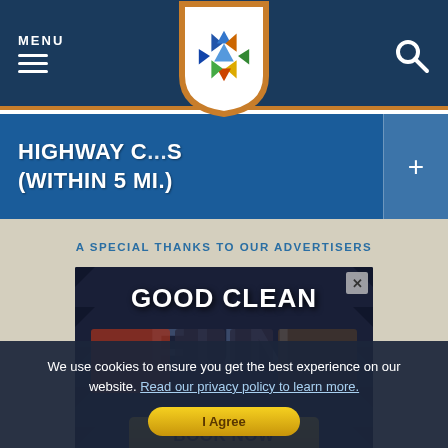MENU
[Figure (logo): Colorful star/snowflake logo inside a shield badge with orange border]
HIGHWAY C... (WITHIN 5 MI.)
A SPECIAL THANKS TO OUR ADVERTISERS
[Figure (screenshot): Advertisement banner: GOOD CLEAN FUN - Book Now button on dark background with decorative pattern]
We use cookies to ensure you get the best experience on our website. Read our privacy policy to learn more.
I Agree